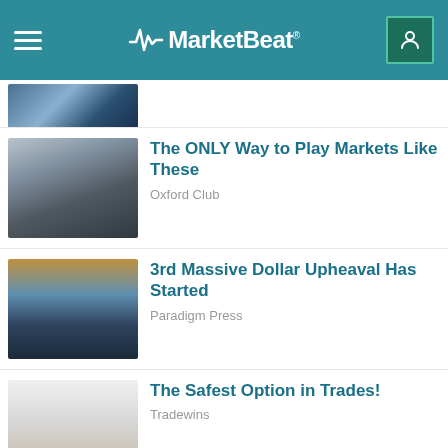MarketBeat
[Figure (photo): Partial view of a blurred photo at top of feed]
The ONLY Way to Play Markets Like These
Oxford Club
3rd Massive Dollar Upheaval Has Started
Paradigm Press
The Safest Option in Trades!
Tradewins